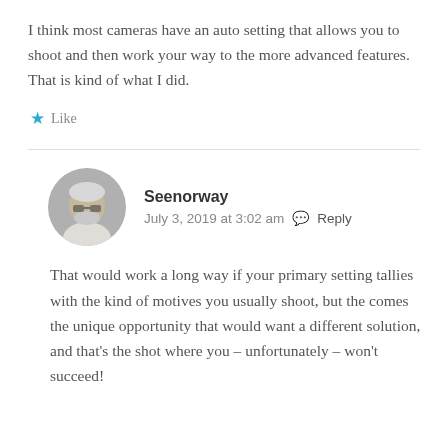I think most cameras have an auto setting that allows you to shoot and then work your way to the more advanced features. That is kind of what I did.
★ Like
Seenorway
July 3, 2019 at 3:02 am  Reply
That would work a long way if your primary setting tallies with the kind of motives you usually shoot, but the comes the unique opportunity that would want a different solution, and that's the shot where you – unfortunately – won't succeed!